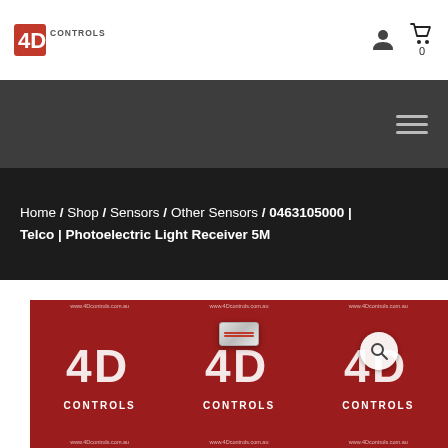4D Controls logo, user icon, cart icon with count 0
[Figure (screenshot): Dark navigation bar with hamburger menu icon (three horizontal lines) on right side]
Home / Shop / Sensors / Other Sensors / 0463105000 | Telco | Photoelectric Light Receiver 5M
[Figure (photo): Product photo of Telco Photoelectric Light Receiver 5M on 4D Controls branded background with repeating logo watermark. A search magnifying glass icon overlaid in white circle.]